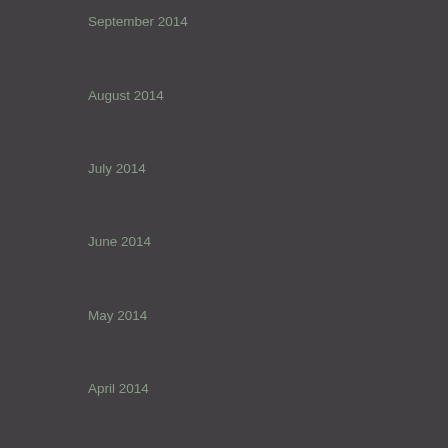September 2014
August 2014
July 2014
June 2014
May 2014
April 2014
March 2014
February 2014
January 2014
Categories
5G
Amerika